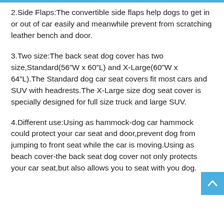2.Side Flaps:The convertible side flaps help dogs to get in or out of car easily and meanwhile prevent from scratching leather bench and door.
3.Two size:The back seat dog cover has two size,Standard(56”W x 60”L) and X-Large(60”W x 64”L).The Standard dog car seat covers fit most cars and SUV with headrests.The X-Large size dog seat cover is specially designed for full size truck and large SUV.
4.Different use:Using as hammock-dog car hammock could protect your car seat and door,prevent dog from jumping to front seat while the car is moving.Using as beach cover-the back seat dog cover not only protects your car seat,but also allows you to seat with you dog.